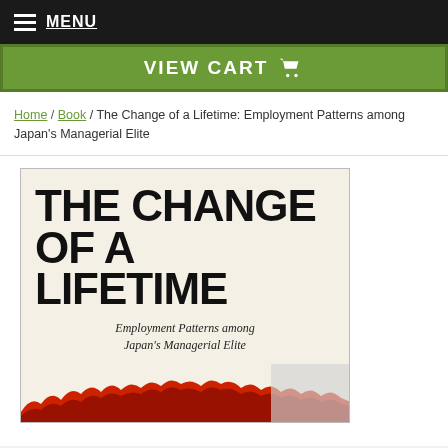MENU
VIEW CART
Home / Book / The Change of a Lifetime: Employment Patterns among Japan's Managerial Elite
[Figure (photo): Book cover of 'The Change of a Lifetime: Employment Patterns among Japan's Managerial Elite'. The cover has a cream/off-white background with large bold black text reading 'THE CHANGE OF A LIFETIME' and italic subtitle 'Employment Patterns among Japan's Managerial Elite'. The bottom of the cover shows red silhouetted figures of people.]